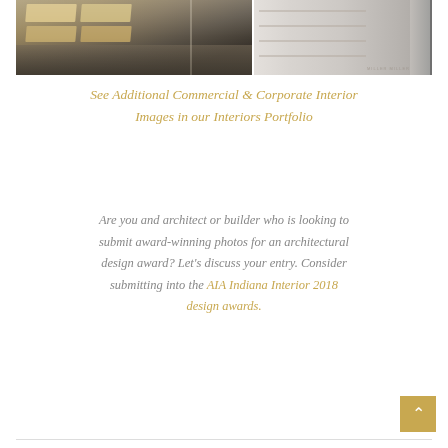[Figure (photo): Two interior office/commercial space photos side by side: left showing tables and seating, right showing a corridor with white walls and shelving]
See Additional Commercial & Corporate Interior Images in our Interiors Portfolio
Are you and architect or builder who is looking to submit award-winning photos for an architectural design award? Let's discuss your entry. Consider submitting into the AIA Indiana Interior 2018 design awards.